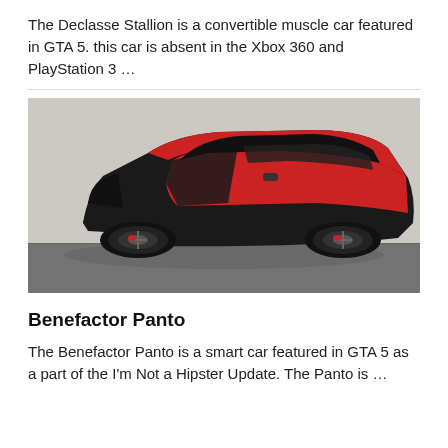The Declasse Stallion is a convertible muscle car featured in GTA 5. this car is absent in the Xbox 360 and PlayStation 3 …
[Figure (photo): A small red and black compact car (Benefactor Panto) from GTA 5, shown in a three-quarter front view on a concrete surface with a light-colored wall in the background.]
Benefactor Panto
The Benefactor Panto is a smart car featured in GTA 5 as a part of the I'm Not a Hipster Update. The Panto is …